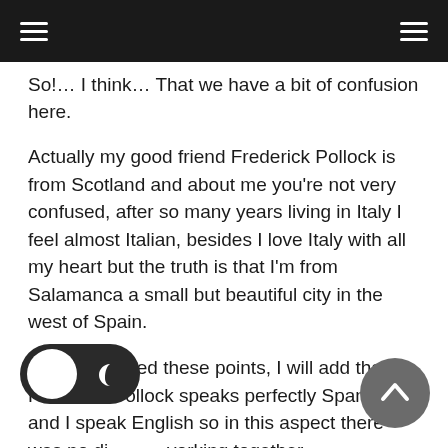So!… I think… That we have a bit of confusion here.
Actually my good friend Frederick Pollock is from Scotland and about me you're not very confused, after so many years living in Italy I feel almost Italian, besides I love Italy with all my heart but the truth is that I'm from Salamanca a small but beautiful city in the west of Spain.
Having clarified these points, I will add that Frederick Pollock speaks perfectly Spanish and I speak English so in this aspect there was no difficulty working together.
I read the definition of the album as being a